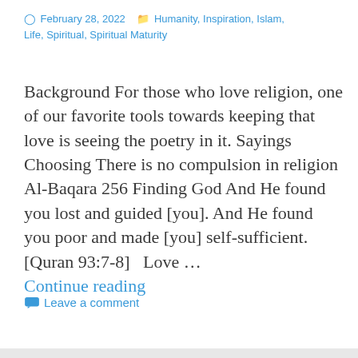February 28, 2022  Humanity, Inspiration, Islam, Life, Spiritual, Spiritual Maturity
Background For those who love religion, one of our favorite tools towards keeping that love is seeing the poetry in it. Sayings   Choosing There is no compulsion in religion Al-Baqara 256 Finding God And He found you lost and guided [you]. And He found you poor and made [you] self-sufficient. [Quran 93:7-8]   Love … Continue reading
Leave a comment